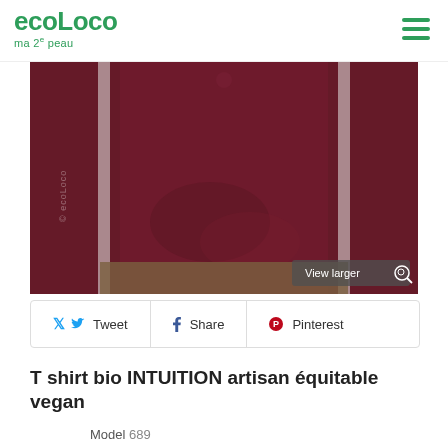ecoLoco ma 2e peau
[Figure (photo): Close-up photo of a dark red/maroon long-sleeve bio t-shirt being worn, with white side stripes and a watermark reading '© ecoLoco'. A 'View larger' button appears in the bottom-right corner of the image.]
Tweet  Share  Pinterest
T shirt bio INTUITION artisan équitable vegan
Model 689